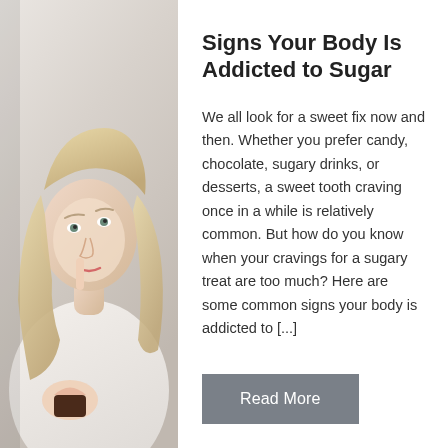[Figure (photo): Blonde woman in white t-shirt holding a chocolate cupcake and touching her lips with her finger, looking upward thoughtfully]
Signs Your Body Is Addicted to Sugar
We all look for a sweet fix now and then. Whether you prefer candy, chocolate, sugary drinks, or desserts, a sweet tooth craving once in a while is relatively common. But how do you know when your cravings for a sugary treat are too much? Here are some common signs your body is addicted to [...]